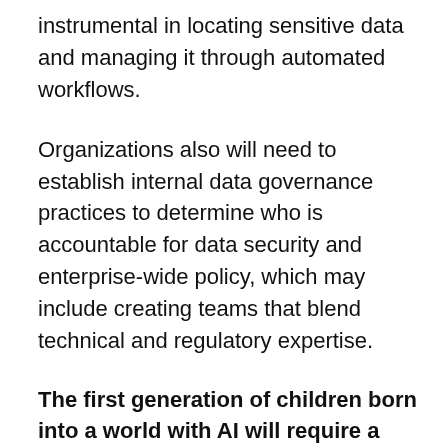instrumental in locating sensitive data and managing it through automated workflows.
Organizations also will need to establish internal data governance practices to determine who is accountable for data security and enterprise-wide policy, which may include creating teams that blend technical and regulatory expertise.
The first generation of children born into a world with AI will require a code of ethics for AI products
Children born since 2010 represent the first generation of people who will have AI in their lives since birth. Yet, because many children will begin using AI-powered toys, programs, and educational